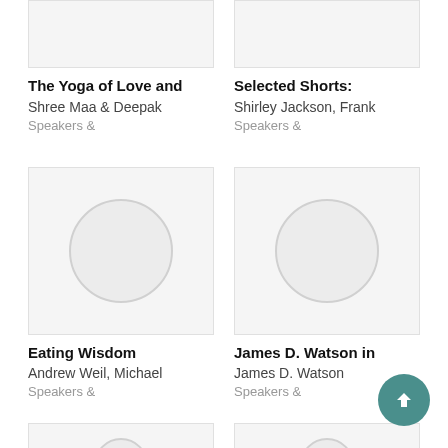[Figure (screenshot): Partial top thumbnail for 'The Yoga of Love and']
The Yoga of Love and
Shree Maa & Deepak
Speakers &
[Figure (screenshot): Partial top thumbnail for 'Selected Shorts:']
Selected Shorts:
Shirley Jackson, Frank
Speakers &
[Figure (screenshot): Album art placeholder with circle for 'Eating Wisdom']
Eating Wisdom
Andrew Weil, Michael
Speakers &
[Figure (screenshot): Album art placeholder with circle for 'James D. Watson in']
James D. Watson in
James D. Watson
Speakers &
[Figure (screenshot): Partial bottom thumbnails for two more items]